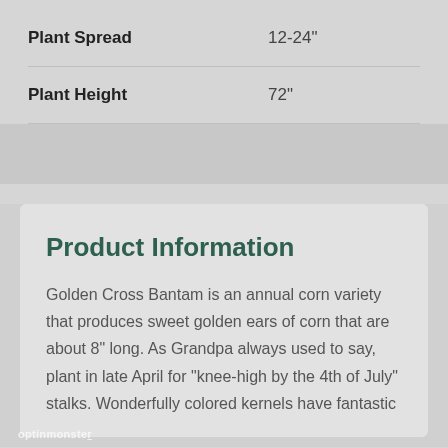| Attribute | Value |
| --- | --- |
| Plant Spread | 12-24" |
| Plant Height | 72" |
Product Information
Golden Cross Bantam is an annual corn variety that produces sweet golden ears of corn that are about 8" long. As Grandpa always used to say, plant in late April for "knee-high by the 4th of July" stalks. Wonderfully colored kernels have fantastic